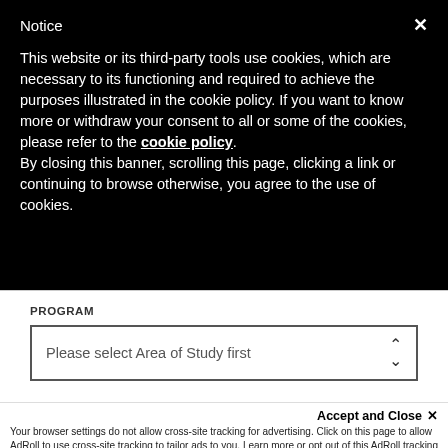Notice
This website or its third-party tools use cookies, which are necessary to its functioning and required to achieve the purposes illustrated in the cookie policy. If you want to know more or withdraw your consent to all or some of the cookies, please refer to the cookie policy.
By closing this banner, scrolling this page, clicking a link or continuing to browse otherwise, you agree to the use of cookies.
PROGRAM
Please select Area of Study first
FIRST NAME
Accept and Close ✕
Your browser settings do not allow cross-site tracking for advertising. Click on this page to allow AdRoll to use cross-site tracking to tailor ads to you. Learn more or opt out of this AdRoll tracking by clicking here. This message only appears once.